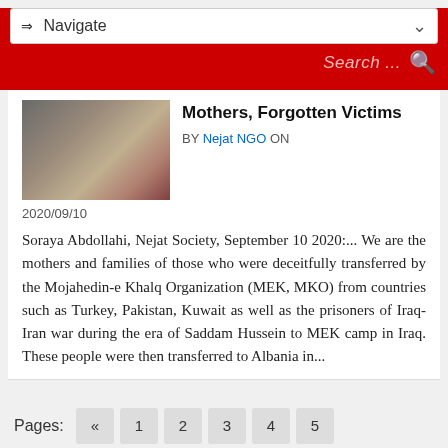⇒ Navigate
Search ...
[Figure (photo): A person holding or near a microphone, partially visible, dark/warm tones]
Mothers, Forgotten Victims
BY Nejat NGO ON 2020/09/10
Soraya Abdollahi, Nejat Society, September 10 2020:... We are the mothers and families of those who were deceitfully transferred by the Mojahedin-e Khalq Organization (MEK, MKO) from countries such as Turkey, Pakistan, Kuwait as well as the prisoners of Iraq-Iran war during the era of Saddam Hussein to MEK camp in Iraq. These people were then transferred to Albania in...
Pages: « 1 2 3 4 5